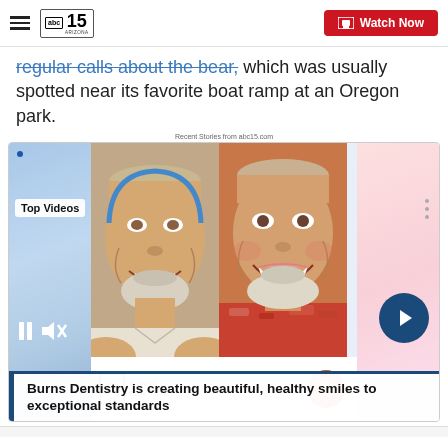ABC15 Arizona | Watch Now
regular calls about the bear, which was usually spotted near its favorite boat ramp at an Oregon park.
Recent Stories from abc15.com
[Figure (screenshot): Video widget showing before and after dental photos of a smiling older man with white beard, labeled 'Top Videos'. Burns Dentistry logo and ABC15 logo at bottom. Pause, mute and next arrow controls visible. Caption reads: Burns Dentistry is creating beautiful, healthy smiles to exceptional standards]
Burns Dentistry is creating beautiful, healthy smiles to exceptional standards